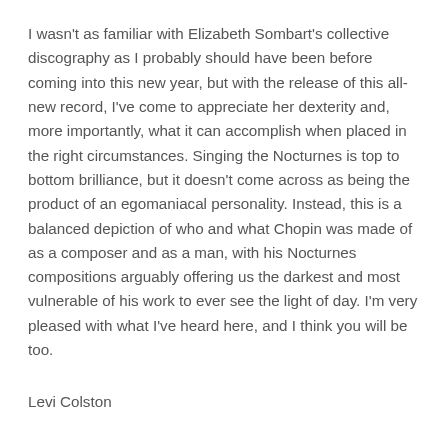I wasn't as familiar with Elizabeth Sombart's collective discography as I probably should have been before coming into this new year, but with the release of this all-new record, I've come to appreciate her dexterity and, more importantly, what it can accomplish when placed in the right circumstances. Singing the Nocturnes is top to bottom brilliance, but it doesn't come across as being the product of an egomaniacal personality. Instead, this is a balanced depiction of who and what Chopin was made of as a composer and as a man, with his Nocturnes compositions arguably offering us the darkest and most vulnerable of his work to ever see the light of day. I'm very pleased with what I've heard here, and I think you will be too.
Levi Colston